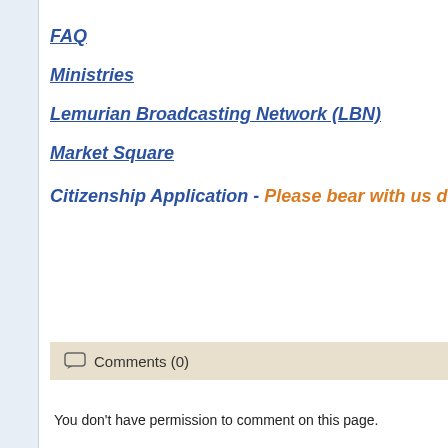FAQ
Ministries
Lemurian Broadcasting Network (LBN)
Market Square
Citizenship Application - Please bear with us during a review o
Comments (0)
You don't have permission to comment on this page.